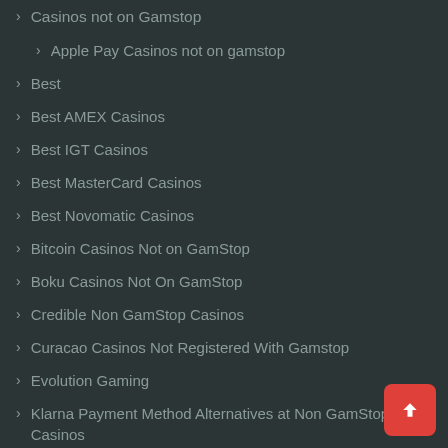Casinos not on Gamstop
Apple Pay Casinos not on gamstop
Best
Best AMEX Casinos
Best IGT Casinos
Best MasterCard Casinos
Best Novomatic Casinos
Bitcoin Casinos Not on GamStop
Boku Casinos Not On GamStop
Credible Non GamStop Casinos
Curacao Casinos Not Registered With Gamstop
Evolution Gaming
Klarna Payment Method Alternatives at Non GamStop Casinos
Malta Casinos not on Gamstop